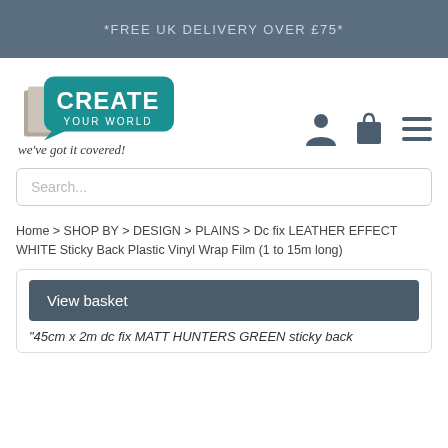*FREE UK DELIVERY OVER £75*
[Figure (logo): Create Your World logo - teal speech bubble with white text CREATE YOUR WORLD and a grey/beige book shape, with italic tagline 'we've got it covered!']
Search...
Home > SHOP BY > DESIGN > PLAINS > Dc fix LEATHER EFFECT WHITE Sticky Back Plastic Vinyl Wrap Film (1 to 15m long)
View basket
"45cm x 2m dc fix MATT HUNTERS GREEN sticky back